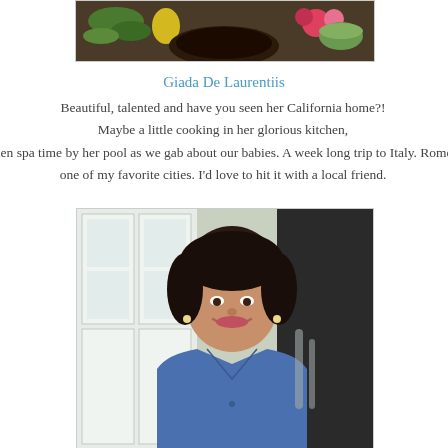[Figure (photo): Top portion of a photo showing vegetables and food items on a dark surface with colorful flowers]
Giada De Laurentiis
Beautiful, talented and have you seen her California home?! Maybe a little cooking in her glorious kitchen, then spa time by her pool as we gab about our babies. A week long trip to Italy. Rome, one of my favorite cities. I'd love to hit it with a local friend.
[Figure (photo): Woman with dark shoulder-length hair wearing a denim shirt, smiling in a kitchen setting with white glass-front cabinets in the background]